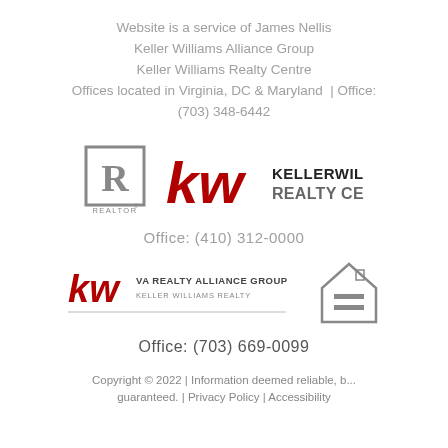Website is a service of James Nellis
Keller Williams Alliance Group
Keller Williams Realty Centre
Offices located in Virginia, DC & Maryland  | Office:
(703) 348-6442
[Figure (logo): Realtor R logo (grey square with R inside)]
[Figure (logo): Keller Williams Realty Centre logo with kw in red and grey text]
Office: (410) 312-0000
[Figure (logo): KW VA Realty Alliance Group - Keller Williams Realty logo with horizontal line]
[Figure (logo): Equal Housing Opportunity logo]
Office: (703) 669-0099
Copyright © 2022 | Information deemed reliable, b...
guaranteed. | Privacy Policy | Accessibility